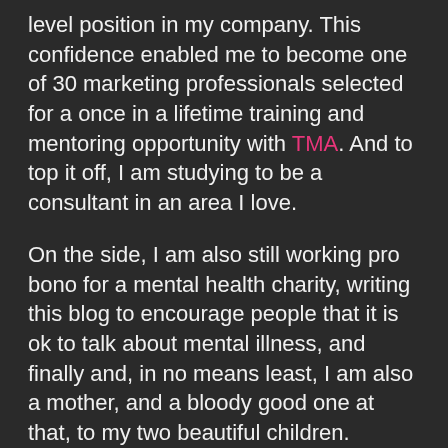level position in my company. This confidence enabled me to become one of 30 marketing professionals selected for a once in a lifetime training and mentoring opportunity with TMA. And to top it off, I am studying to be a consultant in an area I love.
On the side, I am also still working pro bono for a mental health charity, writing this blog to encourage people that it is ok to talk about mental illness, and finally and, in no means least, I am also a mother, and a bloody good one at that, to my two beautiful children.
Three years ago I would have never congratulated myself. I wouldn't praise my achievements or celebrate my own success.
However, it's perfectly ok to back yourself. We can be our own worst enemies at times. Finding our purpose